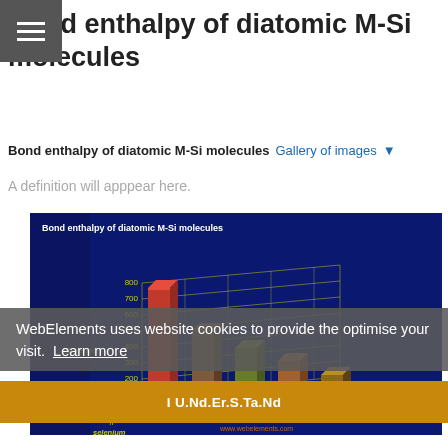☰
Bond enthalpy of diatomic M-Si molecules
Bond enthalpy of diatomic M-Si molecules   Gallery of images ▼
A definition will apppear here.
[Figure (bar-chart): 3D bar chart showing bond enthalpy (kJ per mol) on y-axis up to 800, with Group 16 elements (oxygen, sulphur, selenium, tellurium, polonium) on x-axis. Bars shown in 3D perspective with a yellow grid, bars colored red/brown/olive/orange.]
WebElements uses website cookies to provide the optimise your visit.  Learn more
I U.Nd.Er.S.Ta.Nd